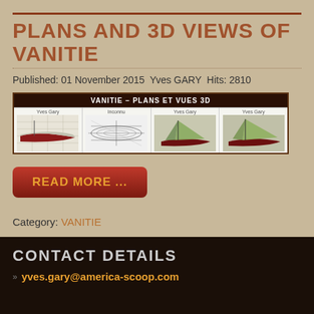PLANS AND 3D VIEWS OF VANITIE
Published: 01 November 2015 Yves GARY Hits: 2810
[Figure (photo): Gallery panel titled VANITIE - PLANS ET VUES 3D showing four sailboat images attributed to Yves Gary, Inconnu, Yves Gary, Yves Gary]
READ MORE ...
Category: VANITIE
CONTACT DETAILS
yves.gary@america-scoop.com